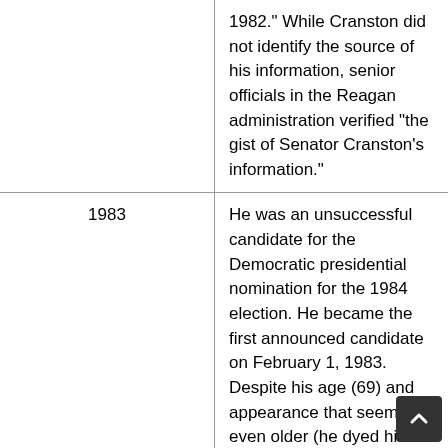| Year | Event |
| --- | --- |
|  | 1982." While Cranston did not identify the source of his information, senior officials in the Reagan administration verified "the gist of Senator Cranston's information." |
| 1983 | He was an unsuccessful candidate for the Democratic presidential nomination for the 1984 election. He became the first announced candidate on February 1, 1983. Despite his age (69) and appearance that seemed even older (he dyed his little remaining white hair a color that most called orange), Cranston quickly became a recognized candidate. His strong support for a nuclear freeze won him an intense following among anti-nuclear Activists, support that translated into campaign donations, committed staff (future Washington Senator Maria Cantwell moved to the state in 1983 to head up Cranston's caucus campaign effort there) and volunteers and straw poll victories in Wisconsin, California, and Alabama. However, the entry of George McGovern into the race in September 1983 cut into Cranston's support. He finished a weak fourth in Iowa in February 1984, and then a distant... |